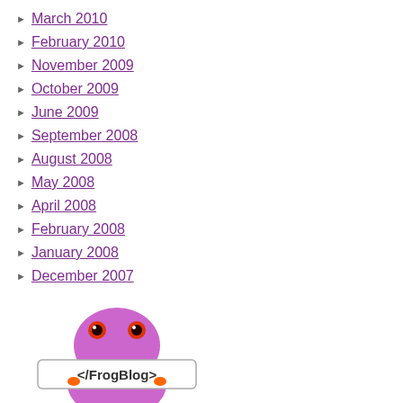March 2010
February 2010
November 2009
October 2009
June 2009
September 2008
August 2008
May 2008
April 2008
February 2008
January 2008
December 2007
[Figure (logo): FrogBlog logo with purple cartoon frog holding a sign that reads </FrogBlog>]